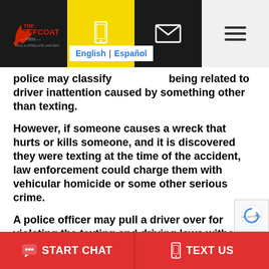[Figure (logo): The Jeffcoat Firm logo on dark background]
[Figure (other): Navigation bar with phone icon (yellow), email icon (dark), and hamburger menu icon (light grey)]
English | Español
police may classify [being related to] driver inattention caused by something other than texting.
However, if someone causes a wreck that hurts or kills someone, and it is discovered they were texting at the time of the accident, law enforcement could charge them with vehicular homicide or some other serious crime.
A police officer may pull a driver over for violating the texting and driving laws without them having made...
[Figure (other): START CHAT and TEXT US red call-to-action buttons at bottom]